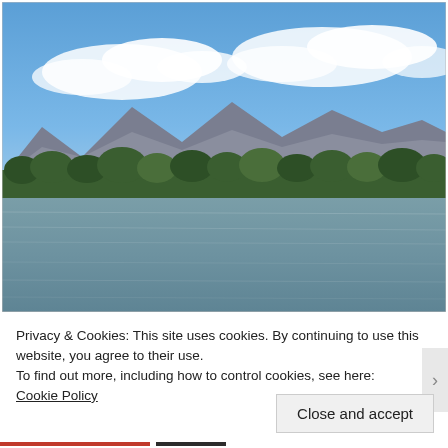[Figure (photo): Photograph of a lake or reservoir with blue-grey water in the foreground, a treeline in the middle distance, mountains in the background, and a partly cloudy blue sky above.]
Privacy & Cookies: This site uses cookies. By continuing to use this website, you agree to their use.
To find out more, including how to control cookies, see here: Cookie Policy
Close and accept